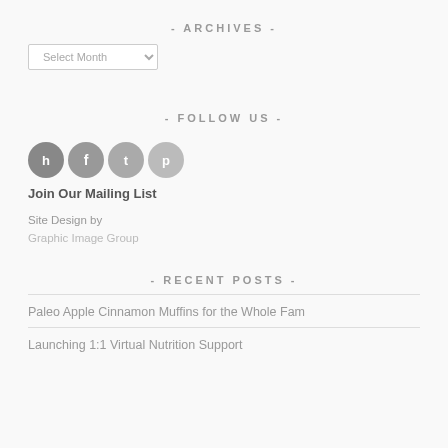- ARCHIVES -
Select Month
- FOLLOW US -
[Figure (illustration): Four social media icons in circles: H (Hometalk), F (Facebook), T (Twitter), P (Pinterest)]
Join Our Mailing List
Site Design by
Graphic Image Group
- RECENT POSTS -
Paleo Apple Cinnamon Muffins for the Whole Fam
Launching 1:1 Virtual Nutrition Support